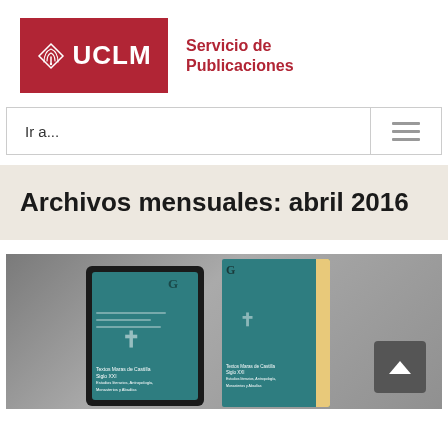[Figure (logo): UCLM logo – dark red square with diamond/wifi icon and UCLM text in white, next to 'Servicio de Publicaciones' in red text]
Ir a...
Archivos mensuales: abril 2016
[Figure (photo): A tablet device and a standing physical book, both showing the same teal/turquoise cover with cross motif – 'Textos Maras de Castilla Siglo XXI' publication, on a grey gradient background. A scroll-to-top button is in the lower right.]